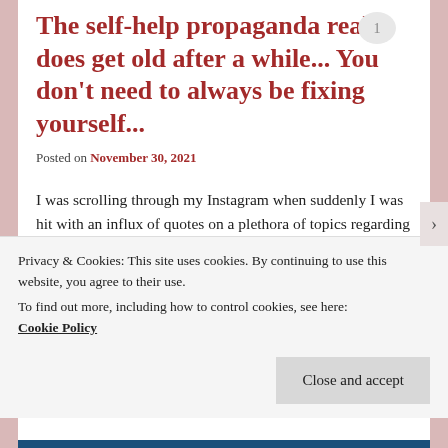The self-help propaganda really does get old after a while... You don't need to always be fixing yourself...
Posted on November 30, 2021
I was scrolling through my Instagram when suddenly I was hit with an influx of quotes on a plethora of topics regarding self-healing, breaking
Privacy & Cookies: This site uses cookies. By continuing to use this website, you agree to their use.
To find out more, including how to control cookies, see here:
Cookie Policy